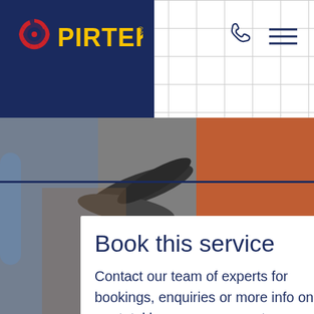[Figure (logo): Pirtek logo with red gear/circle icon and yellow PIRTEK text on navy background header]
[Figure (photo): Worker in orange high-visibility jacket handling hydraulic hoses in an industrial setting. A blue triangle shape is visible in the center of the image.]
Book this service
Contact our team of experts for bookings, enquiries or more info on our total hose management